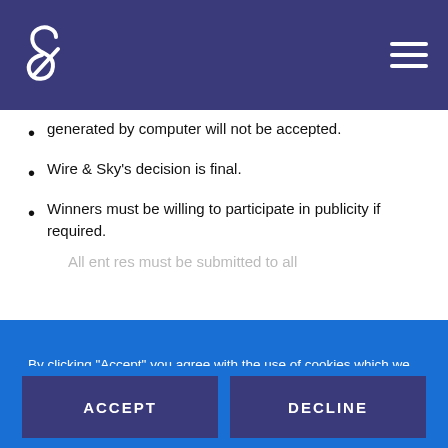[Figure (logo): Wire & Sky logo — stylized ampersand in white on dark blue/indigo navigation bar]
generated by computer will not be accepted.
Wire & Sky's decision is final.
Winners must be willing to participate in publicity if required.
By clicking “Accept” you agree with the use of cookies which we use to track website usage and assist in our marketing efforts. Learn More
ACCEPT
DECLINE